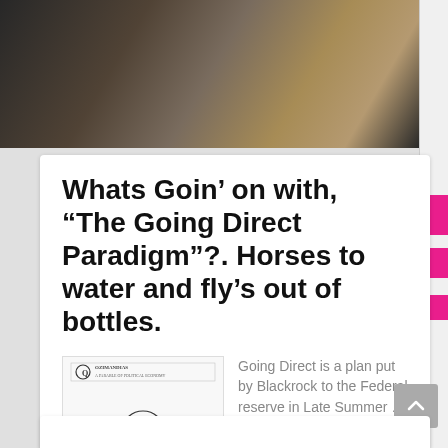[Figure (photo): Dark blurry crowd photo at the top of the page]
Whats Goin’ on with, “The Going Direct Paradigm”?. Horses to water and fly’s out of bottles.
[Figure (illustration): Black and white cartoon/sketch illustration with a bear-like figure sitting on the ground, text above reads something like a newspaper title]
Going Direct is a plan put by Blackrock to the Federal reserve in Late Summer …
Continue reading
Not The Grub Street Journal
2